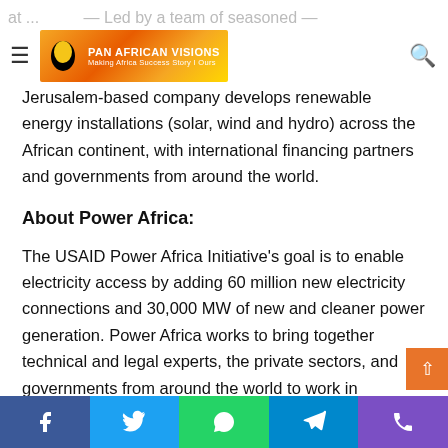Pan African Visions — navigation header with logo
Jerusalem-based company develops renewable energy installations (solar, wind and hydro) across the African continent, with international financing partners and governments from around the world.
About Power Africa:
The USAID Power Africa Initiative's goal is to enable electricity access by adding 60 million new electricity connections and 30,000 MW of new and cleaner power generation. Power Africa works to bring together technical and legal experts, the private sectors, and governments from around the world to work in partnership to increase the number of people with access to power.
Social share bar: Facebook, Twitter, WhatsApp, Telegram, Phone